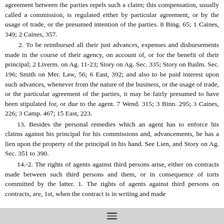agreement between the parties repels such a claim; this compensation, usually called a commission, is regulated either by particular agreement, or by the usage of trade, or the presumed intention of the parties. 8 Bing. 65; 1 Caines, 349; 2 Caines, 357.
2. To be reimbursed all their just advances, expenses and disbursements made in the course of their agency, on account of, or for the benefit of their principal; 2 Liverm. on Ag. 11-23; Story on Ag. Sec. 335; Story on Bailm. Sec. 196; Smith on Mer. Law, 56; 6 East, 392; and also to be paid interest upon such advances, whenever from the nature of the business, or the usage of trade, or the particular agreement of the parties, it may be fairly presumed to have been stipulated for, or due to the agent. 7 Wend. 315; 3 Binn. 295; 3 Caines, 226; 3 Camp. 467; 15 East, 223.
13. Besides the personal remedies which an agent has to enforce his claims against his principal for his commissions and, advancements, he has a lien upon the property of the principal in his hand. See Lien, and Story on Ag. Sec. 351 to 390.
14.-2. The rights of agents against third persons arise, either on contracts made between such third persons and them, or in consequence of torts committed by the latter. 1. The rights of agents against third persons on contracts, are, 1st, when the contract is in writing and made